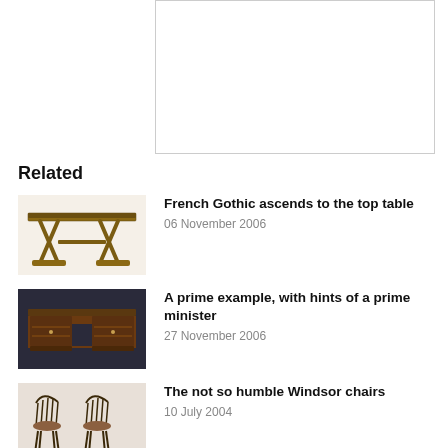[Figure (other): Empty white rectangle with thin border — placeholder image area]
Related
[Figure (photo): Photo of a French Gothic style wooden table with cross-base supports]
French Gothic ascends to the top table
06 November 2006
[Figure (photo): Photo of a dark wooden antique pedestal desk against dark background]
A prime example, with hints of a prime minister
27 November 2006
[Figure (photo): Photo of Windsor chairs with spindle backs and woven seats]
The not so humble Windsor chairs
10 July 2004